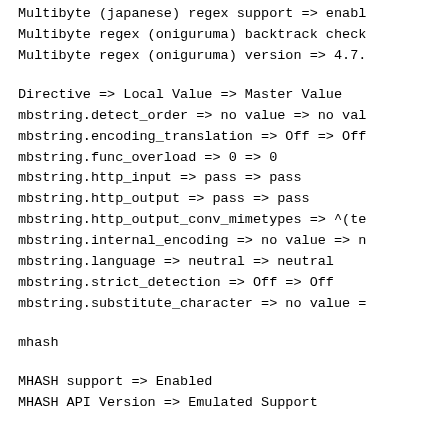Multibyte (japanese) regex support => enabl
Multibyte regex (oniguruma) backtrack check
Multibyte regex (oniguruma) version => 4.7.
Directive => Local Value => Master Value
mbstring.detect_order => no value => no val
mbstring.encoding_translation => Off => Off
mbstring.func_overload => 0 => 0
mbstring.http_input => pass => pass
mbstring.http_output => pass => pass
mbstring.http_output_conv_mimetypes => ^(te
mbstring.internal_encoding => no value => n
mbstring.language => neutral => neutral
mbstring.strict_detection => Off => Off
mbstring.substitute_character => no value =
mhash
MHASH support => Enabled
MHASH API Version => Emulated Support